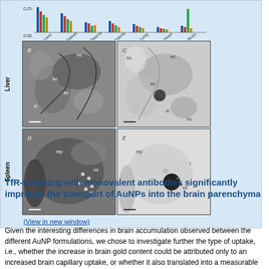[Figure (photo): Multi-panel figure showing a bar chart (panel A) at the top and electron microscopy images in panels B, C (Liver row) and D, E (Spleen row). Bar chart shows organ distribution data for Liver, Spleen, Plasma, Kidney, Lung, Heart, Brain. EM images show cellular ultrastructure with labeled components: hc (hepatocyte), kc (Kupffer cell), ec (endothelial cell), sl (space of Disse), mp (marginal zone macrophage), vs (vesicle), r (red pulp).]
(View in new window)
TfR-targeting with monovalent antibodies significantly improves the transport of AuNPs into the brain parenchyma
Given the interesting differences in brain accumulation observed between the different AuNP formulations, we chose to investigate further the type of uptake, i.e., whether the increase in brain gold content could be attributed only to an increased brain capillary uptake, or whether it also translated into a measurable transport of AuNPs into the brain parenchyma. Therefore, brain capillary depletion was performed to separate the